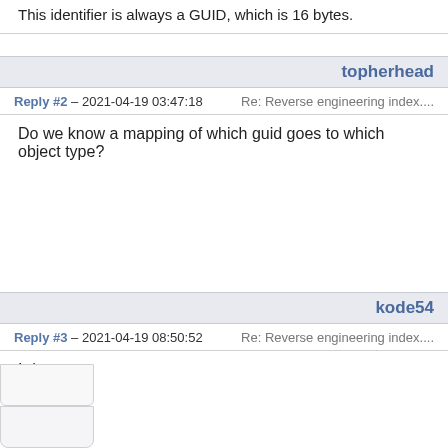This identifier is always a GUID, which is 16 bytes.
topherhead
Reply #2 – 2021-04-19 03:47:18   Re: Reverse engineering index....
Do we know a mapping of which guid goes to which object type?
kode54
Reply #3 – 2021-04-19 08:50:52   Re: Reverse engineering index....
I do not.